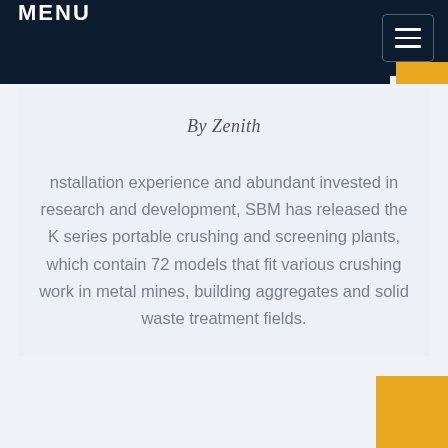MENU
By Zenith
nstallation experience and abundant invested in research and development, SBM has released the K series portable crushing and screening plants, which contain 72 models that fit various crushing work in metal mines, building aggregates and solid waste treatment fields.